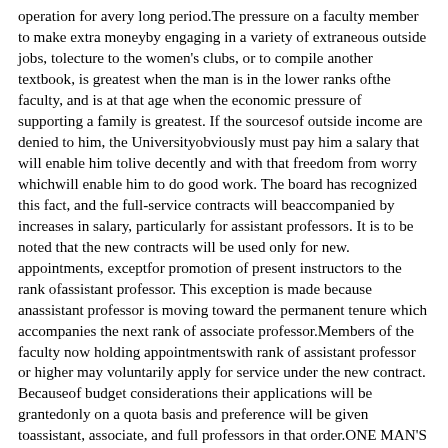operation for avery long period. The pressure on a faculty member to make extra moneyby engaging in a variety of extraneous outside jobs, tolecture to the women's clubs, or to compile another textbook, is greatest when the man is in the lower ranks ofthe faculty, and is at that age when the economic pressure of supporting a family is greatest. If the sourcesof outside income are denied to him, the Universityobviously must pay him a salary that will enable him tolive decently and with that freedom from worry whichwill enable him to do good work. The board has recognized this fact, and the full-service contracts will beaccompanied by increases in salary, particularly for assistant professors. It is to be noted that the new contracts will be used only for new. appointments, exceptfor promotion of present instructors to the rank ofassistant professor. This exception is made because anassistant professor is moving toward the permanent tenure which accompanies the next rank of associate professor.Members of the faculty now holding appointmentswith rank of assistant professor or higher may voluntarily apply for service under the new contract. Becauseof budget considerations their applications will be grantedonly on a quota basis and preference will be given toassistant, associate, and full professors in that order.ONE MAN'S OPINION• By WILLIAM V. MORGENSTERN, '20, J.D. '22NEXT month the Alumni Foundation starts itsseventy-day endeavor to raise the annual AlumniGift. This activity suggests an examination ofthe nature of the reciprocal obligation, if any exists,